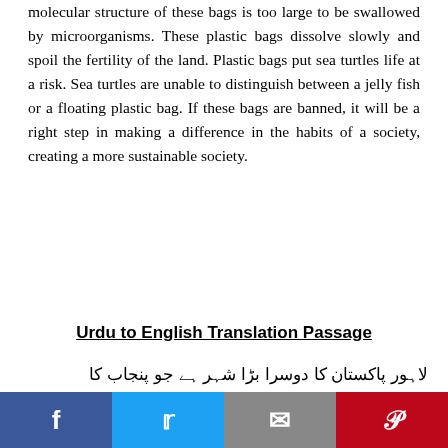molecular structure of these bags is too large to be swallowed by microorganisms. These plastic bags dissolve slowly and spoil the fertility of the land. Plastic bags put sea turtles life at a risk. Sea turtles are unable to distinguish between a jelly fish or a floating plastic bag. If these bags are banned, it will be a right step in making a difference in the habits of a society, creating a more sustainable society.
Urdu to English Translation Passage
لاہور پاکستان کا دوسرا بڑا شہر ہے جو پنجاب کا دار الحکومت بھی ہے شہر دریائے راوی کے مشرقی کنارے پر آباد
[Figure (other): Social media sharing bar with Facebook, Twitter, email, and Pinterest buttons]